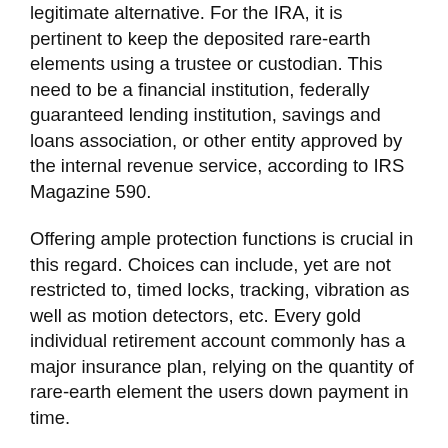legitimate alternative. For the IRA, it is pertinent to keep the deposited rare-earth elements using a trustee or custodian. This need to be a financial institution, federally guaranteed lending institution, savings and loans association, or other entity approved by the internal revenue service, according to IRS Magazine 590.
Offering ample protection functions is crucial in this regard. Choices can include, yet are not restricted to, timed locks, tracking, vibration as well as motion detectors, etc. Every gold individual retirement account commonly has a major insurance plan, relying on the quantity of rare-earth element the users down payment in time.